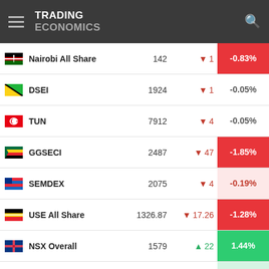TRADING ECONOMICS
| Flag | Index | Price | Change | % Change |
| --- | --- | --- | --- | --- |
| Kenya | Nairobi All Share | 142 | ▼ 1 | -0.83% |
| Tanzania | DSEI | 1924 | ▼ 1 | -0.05% |
| Tunisia | TUN | 7912 | ▼ 4 | -0.05% |
| Ghana | GGSECI | 2487 | ▼ 47 | -1.85% |
| Mauritius | SEMDEX | 2075 | ▼ 4 | -0.19% |
| Uganda | USE All Share | 1326.87 | ▼ 17.26 | -1.28% |
| Namibia | NSX Overall | 1579 | ▲ 22 | 1.44% |
| Botswana | Gaborone | 7372 | ▲ 70 | 0.95% |
| Zimbabwe | ZSI Industrials | 47933.29 | ▲ 116.79 | 0.24% |
This page provides stock market indexes quotes for several countries including the latest price, yesterday